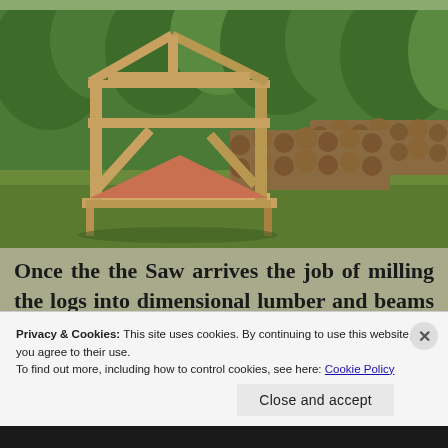[Figure (photo): A wooden timber frame structure (resembling a small building or saw support frame) with diagonal braces, set on a grassy area. Behind it are large stacks of logs piled up, with a forest of evergreen trees in the background.]
Once the the Saw arrives the job of milling the logs into dimensional lumber and beams will begin.
Privacy & Cookies: This site uses cookies. By continuing to use this website, you agree to their use.
To find out more, including how to control cookies, see here: Cookie Policy
Close and accept